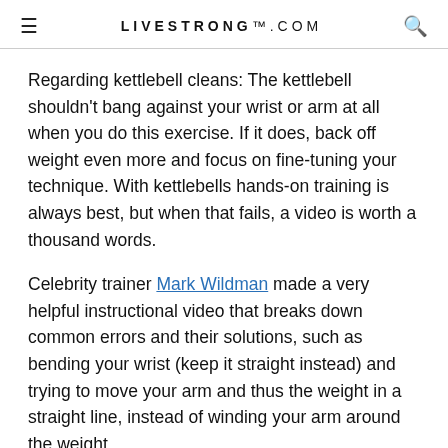LIVESTRONG.COM
Regarding kettlebell cleans: The kettlebell shouldn't bang against your wrist or arm at all when you do this exercise. If it does, back off weight even more and focus on fine-tuning your technique. With kettlebells hands-on training is always best, but when that fails, a video is worth a thousand words.
Celebrity trainer Mark Wildman made a very helpful instructional video that breaks down common errors and their solutions, such as bending your wrist (keep it straight instead) and trying to move your arm and thus the weight in a straight line, instead of winding your arm around the weight.